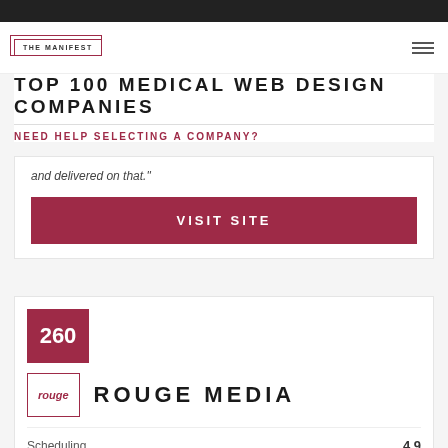THE MANIFEST
TOP 100 MEDICAL WEB DESIGN COMPANIES
NEED HELP SELECTING A COMPANY?
and delivered on that."
VISIT SITE
260
rouge
ROUGE MEDIA
Scheduling 4.9